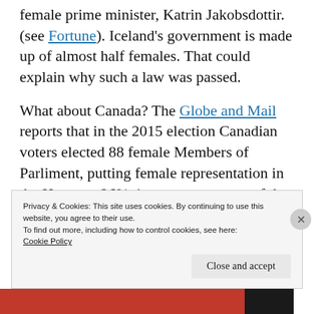female prime minister, Katrin Jakobsdottir. (see Fortune). Iceland's government is made up of almost half females. That could explain why such a law was passed.
What about Canada? The Globe and Mail reports that in the 2015 election Canadian voters elected 88 female Members of Parliment, putting female representation in the House at 26%, just over a quarter of the
Privacy & Cookies: This site uses cookies. By continuing to use this website, you agree to their use.
To find out more, including how to control cookies, see here: Cookie Policy
Close and accept